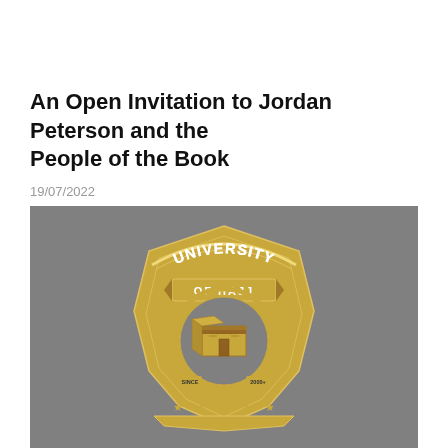An Open Invitation to Jordan Peterson and the People of the Book
19/07/2022
[Figure (logo): University of Hajj logo on grey background — a gold shield/crest design featuring the text 'UNIVERSITY' in a curved arch at the top, 'OF HAJJ' on a ribbon banner, a circular ring with the Kaaba (cube building) in the center, 'SINCE' on the left and '2000+' on the right in small banners, and five stars across the bottom.]